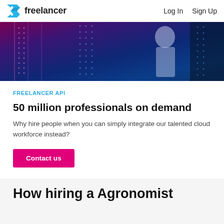freelancer   Log In   Sign Up
[Figure (photo): Dark server room with glowing blue and magenta lights, a person walking between server racks]
FREELANCER API
50 million professionals on demand
Why hire people when you can simply integrate our talented cloud workforce instead?
Contact us
How hiring a Agronomist